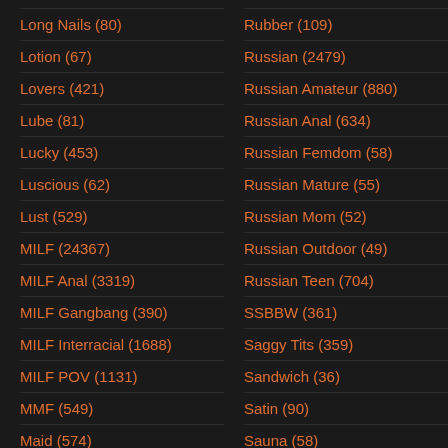Long Nails (80)
Lotion (67)
Lovers (421)
Lube (81)
Lucky (453)
Luscious (62)
Lust (529)
MILF (24367)
MILF Anal (3319)
MILF Gangbang (390)
MILF Interracial (1688)
MILF POV (1131)
MMF (549)
Maid (574)
Malaysian (146)
Maledom (322)
Rubber (109)
Russian (2479)
Russian Amateur (880)
Russian Anal (634)
Russian Femdom (58)
Russian Mature (55)
Russian Mom (52)
Russian Outdoor (49)
Russian Teen (704)
SSBBW (361)
Saggy Tits (359)
Sandwich (36)
Satin (90)
Sauna (58)
Scandal (144)
School (1422)